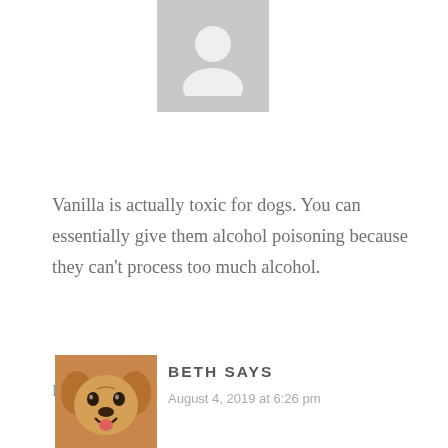[Figure (photo): Default grey avatar placeholder image with silhouette of a person]
Vanilla is actually toxic for dogs. You can essentially give them alcohol poisoning because they can't process too much alcohol.
Reply
[Figure (photo): Photo of a small brown puggle dog looking at the camera and smiling]
BETH SAYS
August 4, 2019 at 6:26 pm